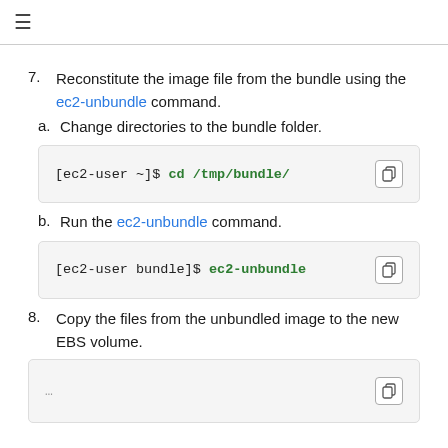≡
7. Reconstitute the image file from the bundle using the ec2-unbundle command.
a. Change directories to the bundle folder.
[ec2-user ~]$ cd /tmp/bundle/
b. Run the ec2-unbundle command.
[ec2-user bundle]$ ec2-unbundle
8. Copy the files from the unbundled image to the new EBS volume.
[ec2-user bundle]$ …